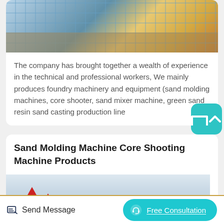[Figure (photo): Aerial view of a construction site with scaffolding and steel framework, showing blue tarps and building structure under construction]
The company has brought together a wealth of experience in the technical and professional workers, We mainly produces foundry machinery and equipment (sand molding machines, core shooter, sand mixer machine, green sand resin sand casting production line
Sand Molding Machine Core Shooting Machine Products
[Figure (photo): Product image with company logo (red triangle design with blue circle element) against a light sky background]
Send Message
Free Consultation